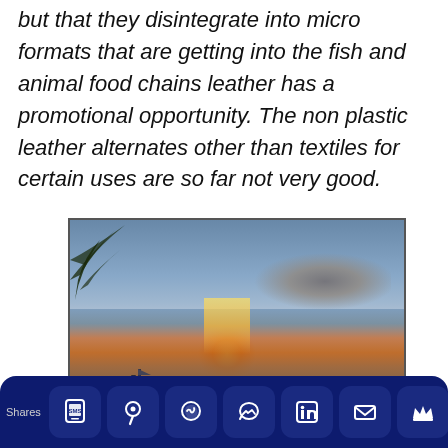but that they disintegrate into micro formats that are getting into the fish and animal food chains leather has a promotional opportunity. The non plastic leather alternates other than textiles for certain uses are so far not very good.
[Figure (photo): A tropical beach sunset photo with a silhouetted boat in calm water, palm leaves in the upper-left corner, and dramatic clouds on the right side of an orange-and-blue sky.]
Shares [SMS] [Pinterest] [WhatsApp] [Messenger] [LinkedIn] [Email] [Crown]